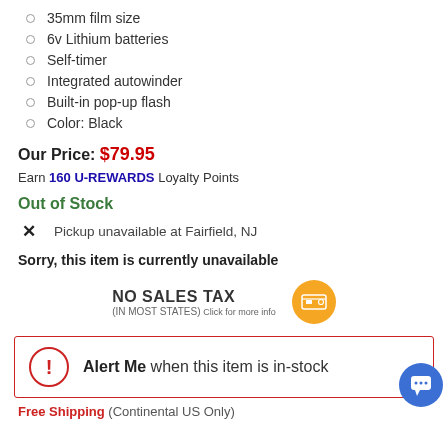35mm film size
6v Lithium batteries
Self-timer
Integrated autowinder
Built-in pop-up flash
Color: Black
Our Price: $79.95
Earn 160 U-REWARDS Loyalty Points
Out of Stock
Pickup unavailable at Fairfield, NJ
Sorry, this item is currently unavailable
NO SALES TAX (IN MOST STATES) Click for more info
Alert Me when this item is in-stock
Free Shipping (Continental US Only)